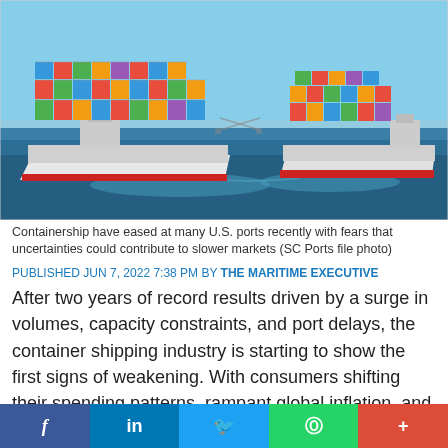[Figure (photo): Two large container ships loaded with colorful shipping containers sailing on blue water with a clear sky and bridge visible in background (SC Ports file photo)]
Containership have eased at many U.S. ports recently with fears that uncertainties could contribute to slower markets (SC Ports file photo)
PUBLISHED JUN 7, 2022 7:38 PM BY THE MARITIME EXECUTIVE
After two years of record results driven by a surge in volumes, capacity constraints, and port delays, the container shipping industry is starting to show the first signs of weakening. With consumers shifting their spending patterns, rampant global inflation, and fears of a looming recession, signs point to the coming normalization of the market that industry executives have been predicting.